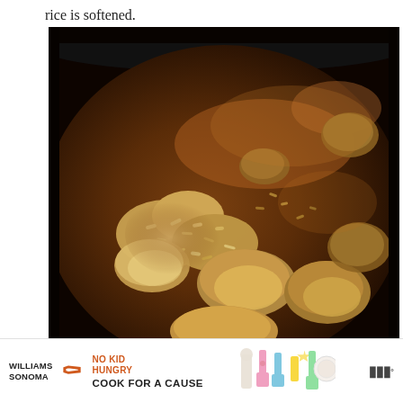rice is softened.
[Figure (photo): Close-up photo of chicken pieces and rice cooking in a dark pan with rich brown broth/sauce, taken from above at an angle.]
[Figure (other): Advertisement banner: Williams Sonoma x No Kid Hungry — Cook for a Cause, with colorful kitchen utensils and Miele logo]